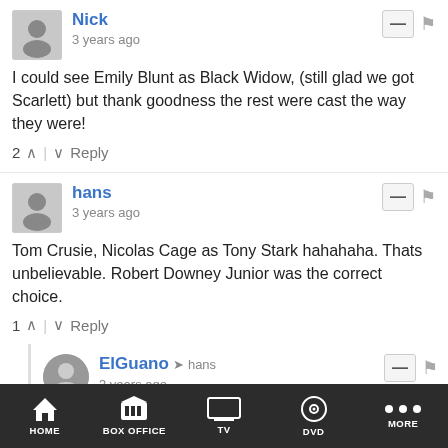Nick • 3 years ago — I could see Emily Blunt as Black Widow, (still glad we got Scarlett) but thank goodness the rest were cast the way they were! — 2 ▲ | ▼ Reply
hans • 3 years ago — Tom Crusie, Nicolas Cage as Tony Stark hahahaha. Thats unbelievable. Robert Downey Junior was the correct choice. — 1 ▲ | ▼ Reply
ElGuano → hans • 3 years ago — He was the correct choice....decent actor, and at the time his career had been having some problems related to drug use (so Marvel could hire him for cheap, and get a multi-picture commitment.)
HOME | BOX OFFICE | TV | DVD | MORE